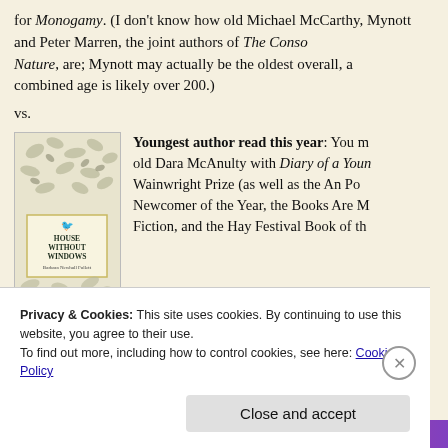for Monogamy. (I don't know how old Michael McCarthy, Mynott and Peter Marren, the joint authors of The Consolation of Nature, are; Mynott may actually be the oldest overall, and their combined age is likely over 200.)
vs.
[Figure (illustration): Book cover of 'House Without Windows' with decorative botanical/nature illustration in green and white tones]
Youngest author read this year: You must-old Dara McAnulty with Diary of a Young Naturalist. Wainwright Prize (as well as the An Post Irish Newcomer of the Year, the Books Are My Bag Fiction, and the Hay Festival Book of the Year).
Privacy & Cookies: This site uses cookies. By continuing to use this website, you agree to their use.
To find out more, including how to control cookies, see here: Cookie Policy
Close and accept